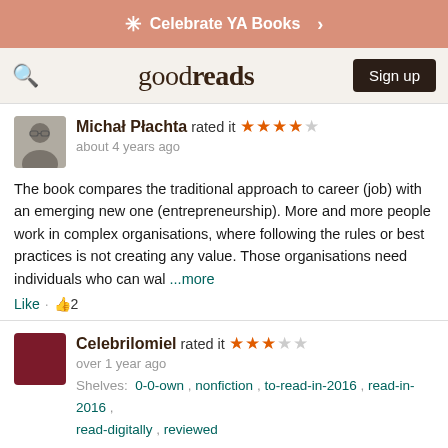Celebrate YA Books >
goodreads  Sign up
Michał Płachta rated it ★★★★☆ about 4 years ago
The book compares the traditional approach to career (job) with an emerging new one (entrepreneurship). More and more people work in complex organisations, where following the rules or best practices is not creating any value. Those organisations need individuals who can wal ...more
Like · 👍2
Celebrilomiel rated it ★★★☆☆ over 1 year ago
Shelves: 0-0-own , nonfiction , to-read-in-2016 , read-in-2016 , read-digitally , reviewed
I found this book thought-provoking, but it gave me very little information I had not already absorbed osmotically through the internet. However, it did collect the information and distill it,